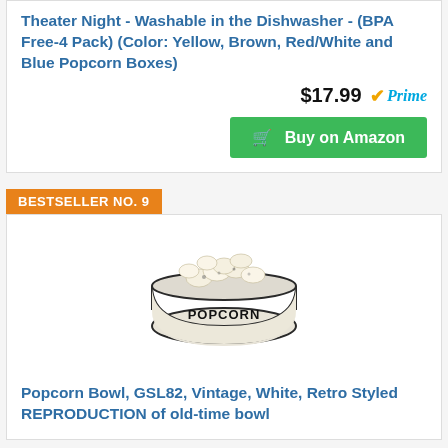Theater Night - Washable in the Dishwasher - (BPA Free-4 Pack) (Color: Yellow, Brown, Red/White and Blue Popcorn Boxes)
$17.99 Prime
Buy on Amazon
BESTSELLER NO. 9
[Figure (photo): A white vintage-style enamel popcorn bowl filled with popcorn, with the word POPCORN printed on the side.]
Popcorn Bowl, GSL82, Vintage, White, Retro Styled REPRODUCTION of old-time bowl